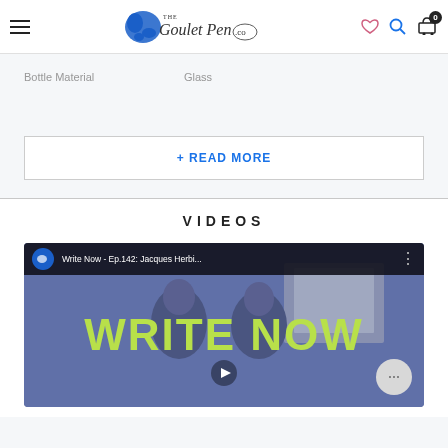[Figure (logo): The Goulet Pen Co. logo with blue ink splash and cursive text]
| Bottle Material | Glass |
+ READ MORE
VIDEOS
[Figure (screenshot): YouTube video thumbnail for 'Write Now - Ep.142: Jacques Herbi...' with WRITE NOW text overlay and two people in background, play button visible]